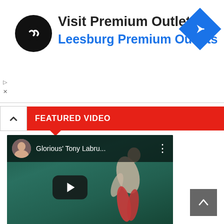[Figure (screenshot): Advertisement banner for Visit Premium Outlets / Leesburg Premium Outlets with circular logo and navigation icon]
FEATURED VIDEO
[Figure (screenshot): YouTube video thumbnail showing Glorious' Tony Labru... with a person swimming underwater in red shorts, play button overlay, channel avatar]